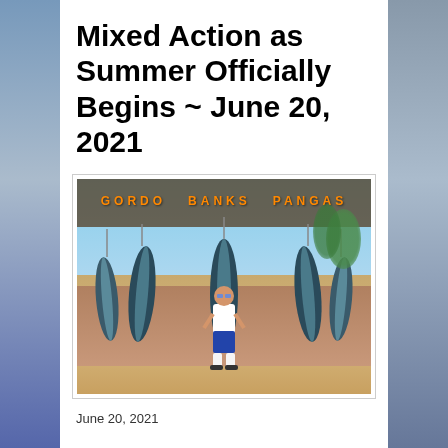Mixed Action as Summer Officially Begins ~ June 20, 2021
[Figure (photo): Man standing in front of Gordo Banks Pangas sign with several large tuna fish hanging behind him on hooks. Outdoor fishing facility in Baja California.]
June 20, 2021